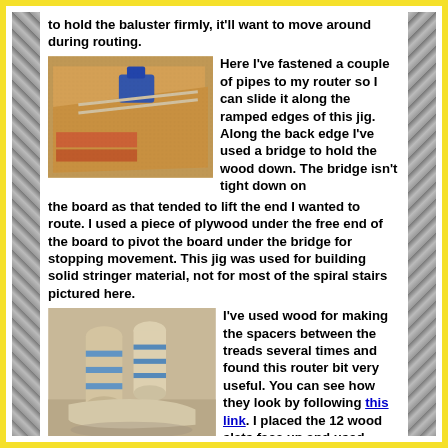to hold the baluster firmly, it'll want to move around during routing.
[Figure (photo): Workshop photo showing a router setup with pipes attached, sliding along ramped edges of a jig, with wood pieces and sawdust visible.]
Here I've fastened a couple of pipes to my router so I can slide it along the ramped edges of this jig. Along the back edge I've used a bridge to hold the wood down. The bridge isn't tight down on the board as that tended to lift the end I wanted to route. I used a piece of plywood under the free end of the board to pivot the board under the bridge for stopping movement. This jig was used for building solid stringer material, not for most of the spiral stairs pictured here.
[Figure (photo): Photo showing two wooden cylindrical spacers/balusters side by side with blue tape around them, and a wooden piece at the base.]
I've used wood for making the spacers between the treads several times and found this router bit very useful. You can see how they look by following this link. I placed the 12 wood slats face up and used tape to hold them in place for gluing. I then rolled